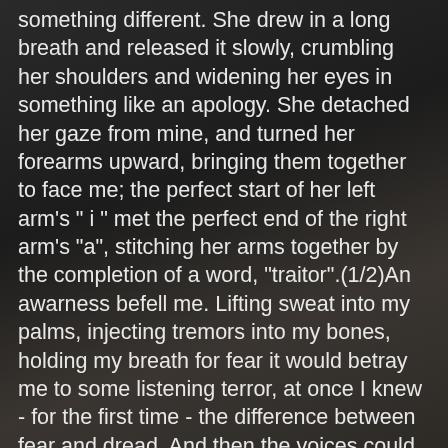something different. She drew in a long breath and released it slowly, crumbling her shoulders and widening her eyes in something like an apology. She detached her gaze from mine, and turned her forearms upward, bringing them together to face me; the perfect start of her left arm's " i " met the perfect end of the right arm's "a", stitching her arms together by the completion of a word, "traitor".(1/2)An awarness befell me. Lifting sweat into my palms, injecting tremors into my bones, holding my breath for fear it would betray me to some listening terror, at once I knew - for the first time - the difference between fear and dread. And then the voices could be heard.(1/3)When I was a small boy I used to lie in bed and try to deafen myself to my parents' arguments, below my room, muffled by the floor. But their anger was like caffeine in my blood, like an ether that permeated our house and crooned the lullabies of waking. I would finally drift to dreams, but they would be narrated by voices which hated each other and whose argument seemed violent and eternal.(1/4)I listened with the woman, as a pair of stones might listen to a creek, and heard voices descend upon my house in the same muffled tone as my parents', but with a hatred more ferociously stoked. They were suffocated screams; a quarrel that, while ordinarily deafening, had to b